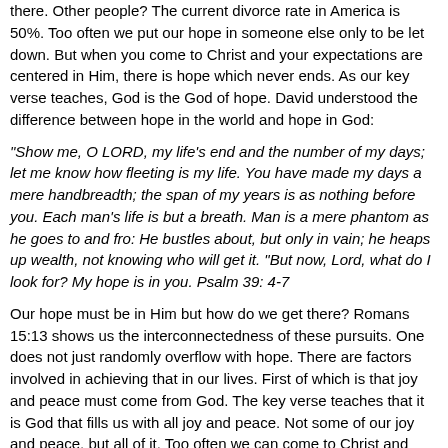there. Other people? The current divorce rate in America is 50%. Too often we put our hope in someone else only to be let down. But when you come to Christ and your expectations are centered in Him, there is hope which never ends. As our key verse teaches, God is the God of hope. David understood the difference between hope in the world and hope in God:
"Show me, O LORD, my life's end and the number of my days; let me know how fleeting is my life. You have made my days a mere handbreadth; the span of my years is as nothing before you. Each man's life is but a breath. Man is a mere phantom as he goes to and fro: He bustles about, but only in vain; he heaps up wealth, not knowing who will get it. "But now, Lord, what do I look for? My hope is in you. Psalm 39: 4-7
Our hope must be in Him but how do we get there? Romans 15:13 shows us the interconnectedness of these pursuits. One does not just randomly overflow with hope. There are factors involved in achieving that in our lives. First of which is that joy and peace must come from God. The key verse teaches that it is God that fills us with all joy and peace. Not some of our joy and peace, but all of it. Too often we can come to Christ and only turn over part of our life to Him. We hold onto the things we do not want to let go of. Our secret sin, our pride, our greed. Whatever it is, Remember, there is